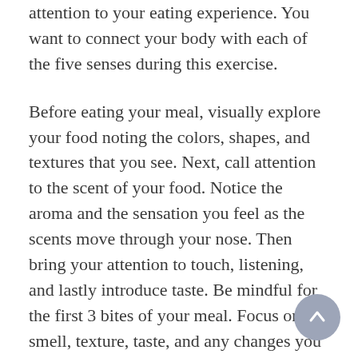attention to your eating experience. You want to connect your body with each of the five senses during this exercise.
Before eating your meal, visually explore your food noting the colors, shapes, and textures that you see. Next, call attention to the scent of your food. Notice the aroma and the sensation you feel as the scents move through your nose. Then bring your attention to touch, listening, and lastly introduce taste. Be mindful for the first 3 bites of your meal. Focus on the smell, texture, taste, and any changes you may experience as you chew your food. Explore each of your senses. Savor the moment